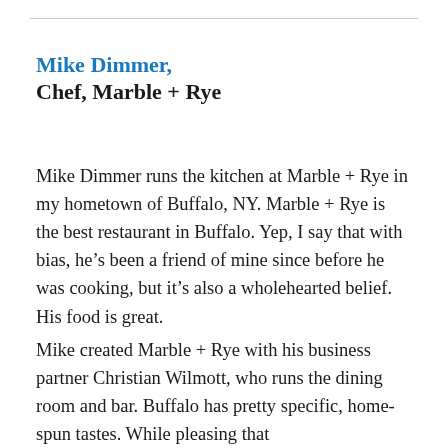Mike Dimmer, Chef, Marble + Rye
Mike Dimmer runs the kitchen at Marble + Rye in my hometown of Buffalo, NY. Marble + Rye is the best restaurant in Buffalo. Yep, I say that with bias, he’s been a friend of mine since before he was cooking, but it’s also a wholehearted belief. His food is great.
Mike created Marble + Rye with his business partner Christian Wilmott, who runs the dining room and bar. Buffalo has pretty specific, home-spun tastes. While pleasing that